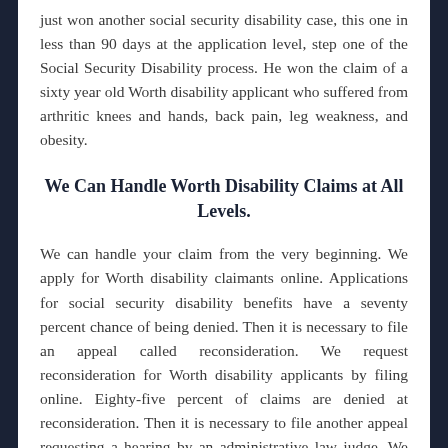just won another social security disability case, this one in less than 90 days at the application level, step one of the Social Security Disability process. He won the claim of a sixty year old Worth disability applicant who suffered from arthritic knees and hands, back pain, leg weakness, and obesity.
We Can Handle Worth Disability Claims at All Levels.
We can handle your claim from the very beginning. We apply for Worth disability claimants online. Applications for social security disability benefits have a seventy percent chance of being denied. Then it is necessary to file an appeal called reconsideration. We request reconsideration for Worth disability applicants by filing online. Eighty-five percent of claims are denied at reconsideration. Then it is necessary to file another appeal requesting a hearing by an administrative law judge. We request hearings for Worth disability applicants online. Worth disability claims are heard in the Orland Park hearing office. Many claims are won at the hearing level, but if you do not win, an appeal must be